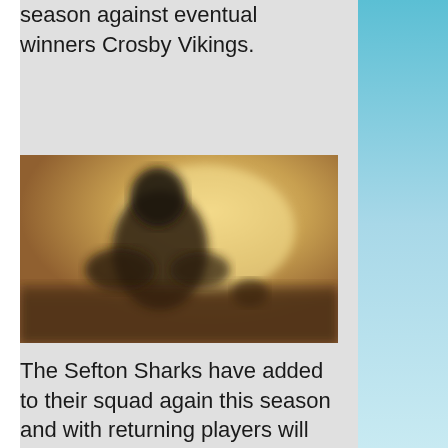season against eventual winners Crosby Vikings.
[Figure (photo): Silhouette of a person sitting at a table, backlit by a warm golden sunset or light source. The figure is blurred and dark against the bright background.]
The Sefton Sharks have added to their squad again this season and with returning players will be hoping to finally transform their Manchester League form into success in the Sefton League.